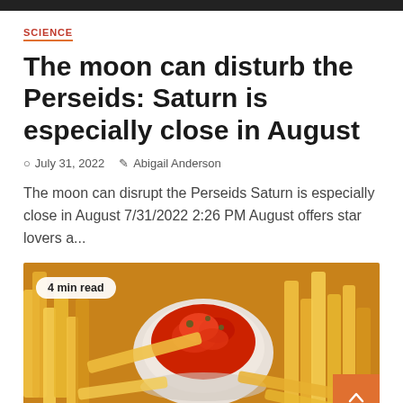SCIENCE
The moon can disturb the Perseids: Saturn is especially close in August
July 31, 2022   Abigail Anderson
The moon can disrupt the Perseids Saturn is especially close in August 7/31/2022 2:26 PM August offers star lovers a...
[Figure (photo): Photo of french fries and a bowl of ketchup/tomato sauce on a table, with a '4 min read' badge overlay in the top-left corner]